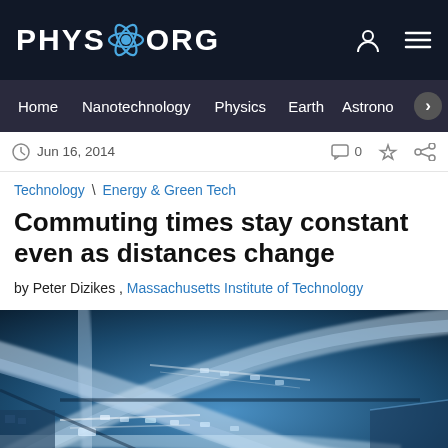PHYS.ORG
Home | Nanotechnology | Physics | Earth | Astronomy
Jun 16, 2014  0
Technology \ Energy & Green Tech
Commuting times stay constant even as distances change
by Peter Dizikes , Massachusetts Institute of Technology
[Figure (photo): Aerial view of a busy highway interchange with cars and buses, tinted blue, motion blur suggesting traffic flow]